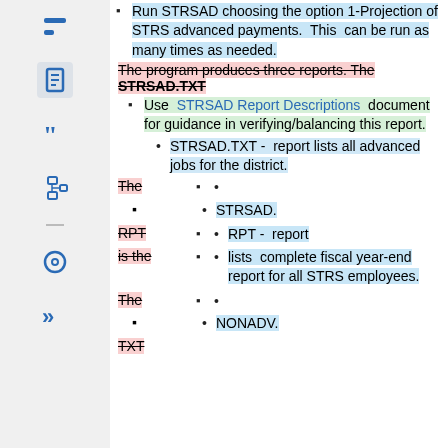Run STRSAD choosing the option 1-Projection of STRS advanced payments. This can be run as many times as needed.
The program produces three reports. The STRSAD.TXT
Use STRSAD Report Descriptions document for guidance in verifying/balancing this report.
STRSAD.TXT - report lists all advanced jobs for the district.
The
(bullet)
STRSAD.
RPT
RPT - report
is the
lists complete fiscal year-end report for all STRS employees.
The
(bullet)
NONADV.
TXT